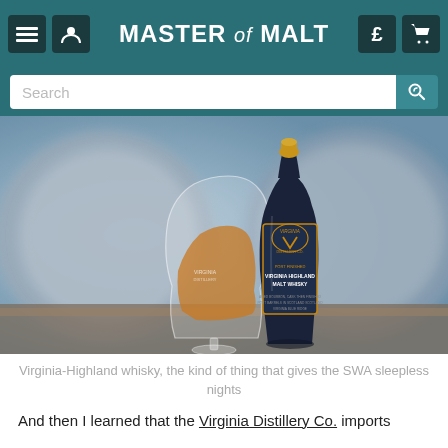MASTER of MALT
[Figure (photo): A bottle of Virginia Distillery Co. Virginia Highland Malt Whisky standing next to a Glencairn glass containing amber whisky, with wooden barrels blurred in the background.]
Virginia-Highland whisky, the kind of thing that gives the SWA sleepless nights
And then I learned that the Virginia Distillery Co. imports